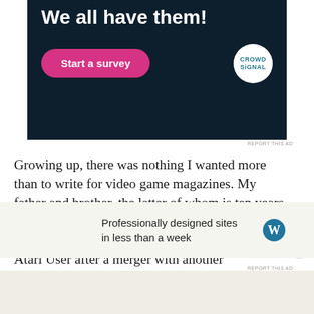[Figure (other): Advertisement banner with dark navy background. Text reads 'Opinions: We all have them!' with a pink 'Start a survey' button and CrowdSignal logo.]
REPORT THIS AD
Growing up, there was nothing I wanted more than to write for video game magazines. My father and brother, the latter of whom is ten years my senior, both wrote for an Atari-centric magazine called Page 6 (which later became New Atari User after a merger with another publication) and, instead of going to university, my brother left home at 18 to pursue an opportunity to help launch an unusual publication: a weekly
Advertisements
[Figure (other): WordPress advertisement: 'Professionally designed sites in less than a week' with WordPress logo.]
REPORT THIS AD